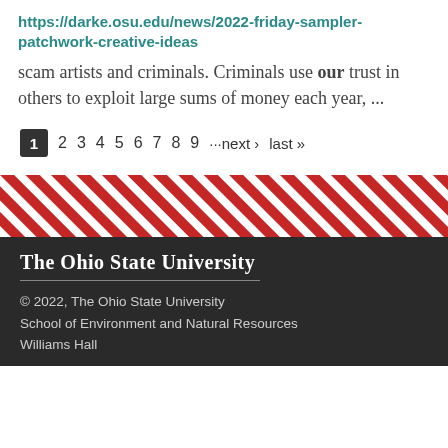https://darke.osu.edu/news/2022-friday-sampler-patchwork-creative-ideas
scam artists and criminals. Criminals use our trust in others to exploit large sums of money each year, ...
1 2 3 4 5 6 7 8 9 ···next › last »
[Figure (other): Diagonal red and white stripe decorative banner]
The Ohio State University
© 2022, The Ohio State University
School of Environment and Natural Resources
Williams Hall